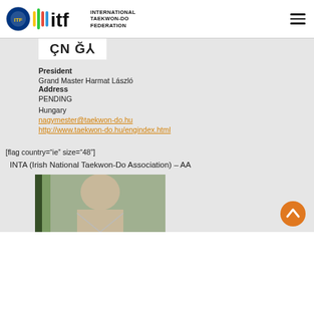International Taekwon-Do Federation
[Figure (logo): ITF logo with circular emblem and colored bars next to ITF letters and INTERNATIONAL TAEKWON-DO FEDERATION text]
ÇN Ğ⅄
President
Grand Master Harmat László
Address
PENDING
Hungary
nagymester@taekwon-do.hu
http://www.taekwon-do.hu/engindex.html
[flag country="ie" size="48"]
INTA (Irish National Taekwon-Do Association) – AA
[Figure (photo): Partial photo of a person with grey/light hair in front of green background]